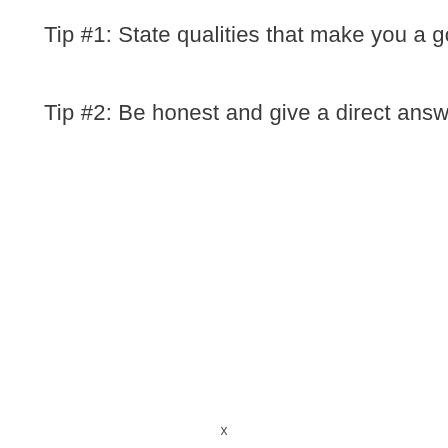Tip #1: State qualities that make you a good secretary
Tip #2: Be honest and give a direct answer